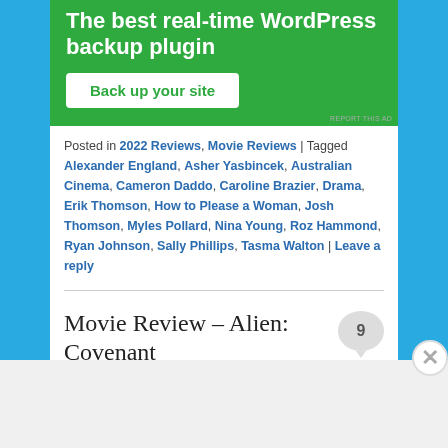[Figure (screenshot): WordPress backup plugin advertisement banner with green background, white bold text reading 'The best real-time WordPress backup plugin' and a white button labeled 'Back up your site' in green text.]
Posted in 2022 Reviews, Movie Reviews | Tagged Alexander England, Asher Yasbincek, Australian Cinema, Cameron Daddo, Caroline Brazier, Drama, Erik Thomson, How to Please a Woman, Josh Thomson, Myles Pollard, Nina Young, Roz Hammond, Ryan Johnson, Sally Phillips, Tasma Walton | Leave a reply
Movie Review – Alien: Covenant
Advertisements